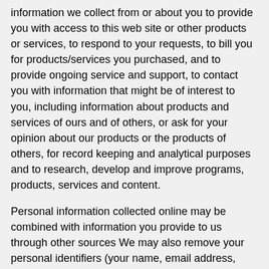information we collect from or about you to provide you with access to this web site or other products or services, to respond to your requests, to bill you for products/services you purchased, and to provide ongoing service and support, to contact you with information that might be of interest to you, including information about products and services of ours and of others, or ask for your opinion about our products or the products of others, for record keeping and analytical purposes and to research, develop and improve programs, products, services and content.
Personal information collected online may be combined with information you provide to us through other sources We may also remove your personal identifiers (your name, email address, social security number, etc). In this case, you would no longer be identified as a single unique individual. Once we have de-identified information, it is non-personal information and we may treat it like other non-personal information. Finally, we may use your personal information to protect our rights or property, or to protect someone's health, safety or welfare, and to comply with a law or regulation, court order or other legal process.